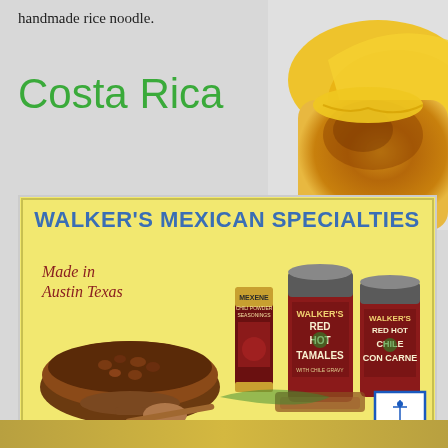handmade rice noodle.
Costa Rica
[Figure (illustration): Vintage advertisement for Walker's Mexican Specialties, showing canned goods (Walker's Red Hot Tamales, Walker's Red Hot Chile Con Carne, Mexene Chili Powder Seasonings), a bowl of beans with a spoon, and text 'Made in Austin Texas' on a yellow background. A small blue-bordered icon with a figure appears in the bottom-right corner.]
[Figure (photo): Close-up photo of toasted bread with melted cheese, appearing in the upper-right corner of the page.]